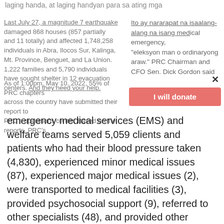laging handa, at laging handyan para sa ating mga
Last July 27, a magnitude 7 earthquake damaged 868 houses (857 partially and 11 totally) and affected 1,748,258 individuals in Abra, Ilocos Sur, Kalinga, Mt. Province, Benguet, and La Union. 1,222 families and 5,790 individuals have sought shelter in 12 evacuation centers. And they need your help.
Ito ay nararapat na isaalang-alang na isang medikal na emergency, "eleksyon man o ordinaryong araw." PRC Chairman and CFO Sen. Dick Gordon said
As of 1:00pm, May 10, 2022, 55% of PRC chapters across the country have submitted their report to PRC's operations center. Based on the reports, PRC's
[Figure (other): Button: 'I will donate' (salmon/red background, white text) with X close button]
emergency medical services (EMS) and welfare teams served 5,059 clients and patients who had their blood pressure taken (4,830), experienced minor medical issues (87), experienced major medical issues (2), were transported to medical facilities (3), provided psychosocial support (9), referred to other specialists (48), and provided other assistance (80).
The PRC deployed 51 ambulance units and 221 first aid stations to polling places across the Philippines. It